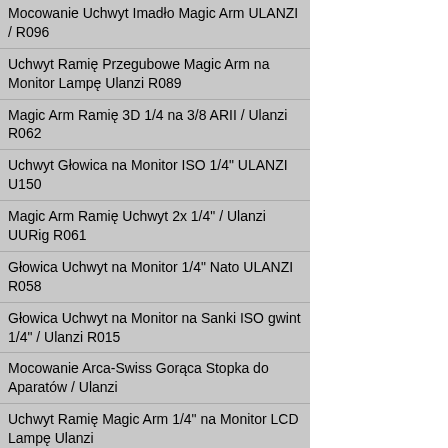Mocowanie Uchwyt Imadło Magic Arm ULANZI / R096
Uchwyt Ramię Przegubowe Magic Arm na Monitor Lampę Ulanzi R089
Magic Arm Ramię 3D 1/4 na 3/8 ARII / Ulanzi R062
Uchwyt Głowica na Monitor ISO 1/4" ULANZI U150
Magic Arm Ramię Uchwyt 2x 1/4" / Ulanzi UURig R061
Głowica Uchwyt na Monitor 1/4" Nato ULANZI R058
Głowica Uchwyt na Monitor na Sanki ISO gwint 1/4" / Ulanzi R015
Mocowanie Arca-Swiss Gorąca Stopka do Aparatów / Ulanzi
Uchwyt Ramię Magic Arm 1/4" na Monitor LCD Lampę Ulanzi
Mocowanie na Mikrofon Lampę LED 1/4" ULANZI PT-13
Wizjer Ekran Odwrócony do Vlog do Aparatu ULANZI R031
Lustro Wizjer Ekran Odwrócony ULANZI 360s na ISO PT-14
Klatka Operatorska Vlog do Telefonu Kamery Aparatu Ulanzi M-RIG, GoPro HERO 7 6 5 4 3 3+ 2
Uchwyt Ramię Przegubowe Magic Arm 1/4" na Monitor Lampę / Ulanzi
Obiektyw Makro 10x / Wide 18mm do Sony ZV-E10 A7C / WL-3 / 2647